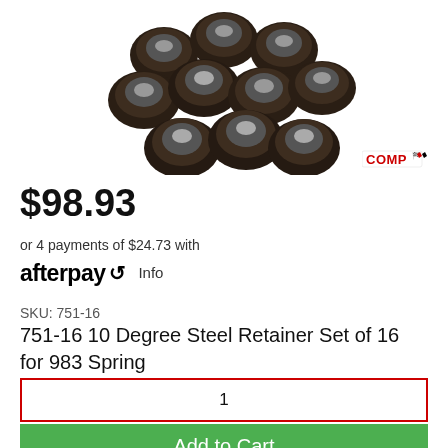[Figure (photo): A pile of dark brown/black steel valve spring retainers, circular disc-shaped parts with a central hole, stacked and grouped together on a white background. Only the upper portion of the product image is visible.]
[Figure (logo): COMP Cams logo in red text with a checkered flag icon]
$98.93
or 4 payments of $24.73 with afterpay Info
SKU: 751-16
751-16 10 Degree Steel Retainer Set of 16 for 983 Spring
1
Add to Cart